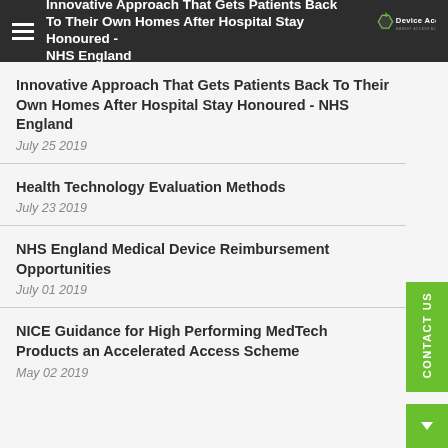Innovative Approach That Gets Patients Back To Their Own Homes After Hospital Stay Honoured - NHS England
Innovative Approach That Gets Patients Back To Their Own Homes After Hospital Stay Honoured - NHS England
July 25 2019
Health Technology Evaluation Methods
July 23 2019
NHS England Medical Device Reimbursement Opportunities
July 01 2019
NICE Guidance for High Performing MedTech Products an Accelerated Access Scheme
May 02 2019